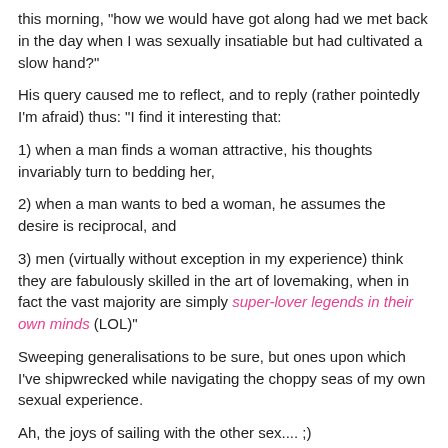this morning, "how we would have got along had we met back in the day when I was sexually insatiable but had cultivated a slow hand?"
His query caused me to reflect, and to reply (rather pointedly I'm afraid) thus: "I find it interesting that:
1) when a man finds a woman attractive, his thoughts invariably turn to bedding her,
2) when a man wants to bed a woman, he assumes the desire is reciprocal, and
3) men (virtually without exception in my experience) think they are fabulously skilled in the art of lovemaking, when in fact the vast majority are simply super-lover legends in their own minds (LOL)"
Sweeping generalisations to be sure, but ones upon which I've shipwrecked while navigating the choppy seas of my own sexual experience.
Ah, the joys of sailing with the other sex.... ;)